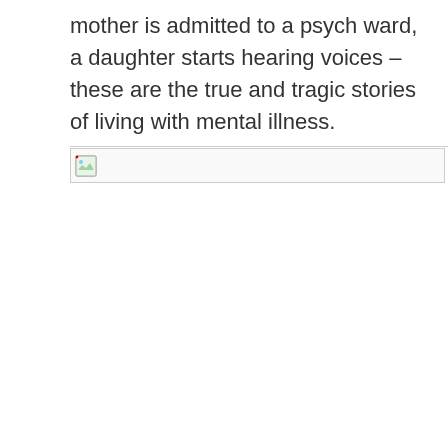mother is admitted to a psych ward, a daughter starts hearing voices – these are the true and tragic stories of living with mental illness.
[Figure (other): Broken image placeholder icon with light blue/green landscape thumbnail icon, inside a light-bordered box]